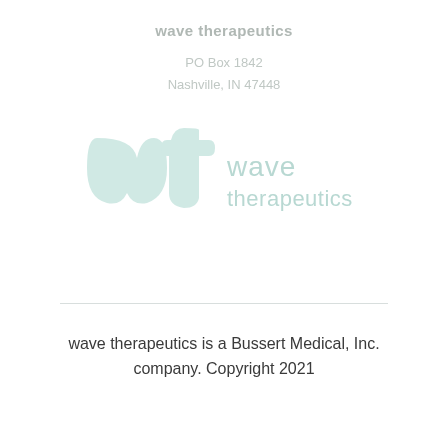wave therapeutics
PO Box 1842
Nashville, IN 47448
[Figure (logo): Wave Therapeutics logo: stylized 'wt' lettermark in pale teal/mint with text 'wave therapeutics' beside it, all very light/watermark style]
wave therapeutics is a Bussert Medical, Inc. company. Copyright 2021